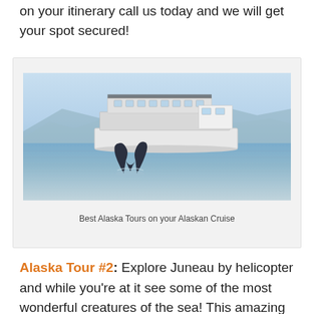on your itinerary call us today and we will get your spot secured!
[Figure (photo): A whale tail rising out of the ocean water with a large tour boat in the background carrying many passengers, mountains visible in the distance under a blue sky.]
Best Alaska Tours on your Alaskan Cruise
Alaska Tour #2: Explore Juneau by helicopter and while you're at it see some of the most wonderful creatures of the sea! This amazing tour takes you on